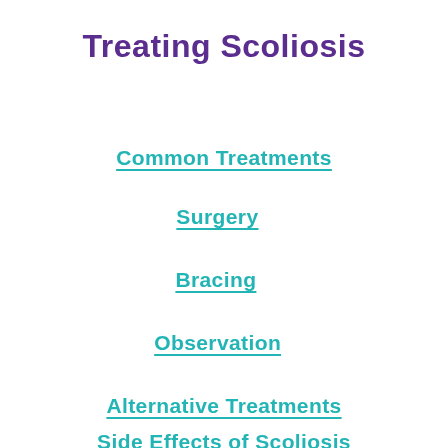Treating Scoliosis
Common Treatments
Surgery
Bracing
Observation
Alternative Treatments
Side Effects of Scoliosis Treatment